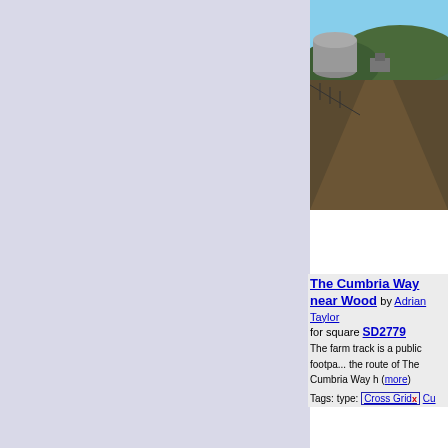[Figure (photo): Farm track photo showing muddy path with slurry tank and hills in background, The Cumbria Way near Old Hall Farm]
top: Farm, Fishery, Market G...
Long Distance Path x
Long Distance Walking Rou...
Mud x   Muddy Track x
Old Hall Farm x   top: Paths
Public Footpath x
Public Right of Way x
top: Roads, Road Transport
Slurry Tank x   long distance
path: The Cumbria Way x   T...
Tractor Marks x   Tractor Tra...
Walking Route x
The Cumbria Way near Wood by Adrian Taylor for square SD2779 The farm track is a public footpath on the route of The Cumbria Way (more)
Tags: type: Cross Grid x  Cu...